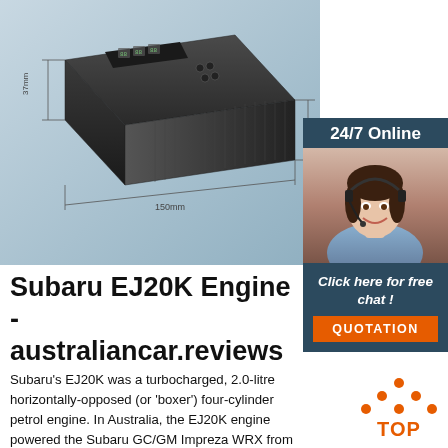[Figure (photo): 3D render of a black rectangular electronic device (ECU/OBD module) with digital display and buttons on top, shown with dimension annotations: 150mm length, 125mm width, 37mm height, on a light blue-grey background.]
[Figure (photo): Advertisement banner showing a smiling woman with a headset (customer service agent) with '24/7 Online' text on dark blue background.]
24/7 Online
Click here for free chat !
QUOTATION
Subaru EJ20K Engine - australiancar.reviews
Subaru's EJ20K was a turbocharged, 2.0-litre horizontally-opposed (or 'boxer') four-cylinder petrol engine. In Australia, the EJ20K engine powered the Subaru GC/GM Impreza WRX from November 1996 (for the 1997 'model year' or MY97) to 1998. For the Subaru GC/GM Impreza
[Figure (logo): TOP badge/icon with orange dots forming a triangle shape above the word TOP in orange text]